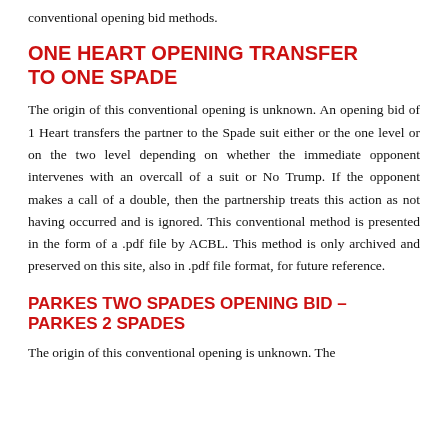conventional opening bid methods.
ONE HEART OPENING TRANSFER TO ONE SPADE
The origin of this conventional opening is unknown. An opening bid of 1 Heart transfers the partner to the Spade suit either or the one level or on the two level depending on whether the immediate opponent intervenes with an overcall of a suit or No Trump. If the opponent makes a call of a double, then the partnership treats this action as not having occurred and is ignored. This conventional method is presented in the form of a .pdf file by ACBL. This method is only archived and preserved on this site, also in .pdf file format, for future reference.
PARKES TWO SPADES OPENING BID – PARKES 2 SPADES
The origin of this conventional opening is unknown. The